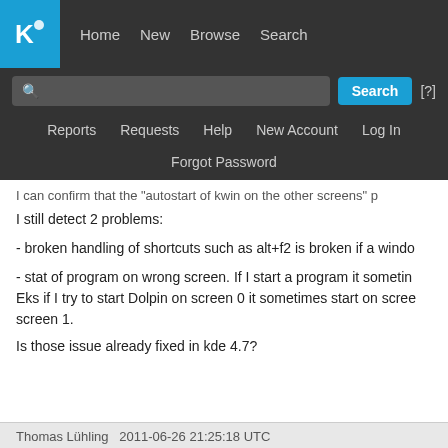[Figure (screenshot): KDE bug tracker navigation bar with logo, Home, New, Browse, Search links, search input box with Search button and [?] help link, and secondary nav with Reports, Requests, Help, New Account, Log In, and Forgot Password links]
I can confirm that the "autostart of kwin on the other screens" p
I still detect 2 problems:
- broken handling of shortcuts such as alt+f2 is broken if a windo
- stat of program on wrong screen. If I start a program it sometin Eks if I try to start Dolpin on screen 0 it sometimes start on scree screen 1.
Is those issue already fixed in kde 4.7?
Thomas Lühling   2011-06-26 21:25:18 UTC